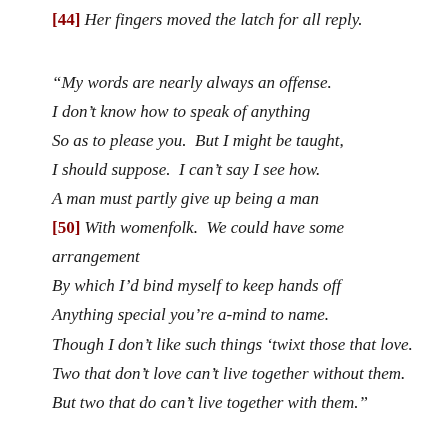[44] Her fingers moved the latch for all reply.
“My words are nearly always an offense.
I don’t know how to speak of anything
So as to please you.  But I might be taught,
I should suppose.  I can’t say I see how.
A man must partly give up being a man
[50] With womenfolk.  We could have some arrangement
By which I’d bind myself to keep hands off
Anything special you’re a-mind to name.
Though I don’t like such things ‘twixt those that love.
Two that don’t love can’t live together without them.
But two that do can’t live together with them.”
The husband asks for help. His wife moves the latch for all